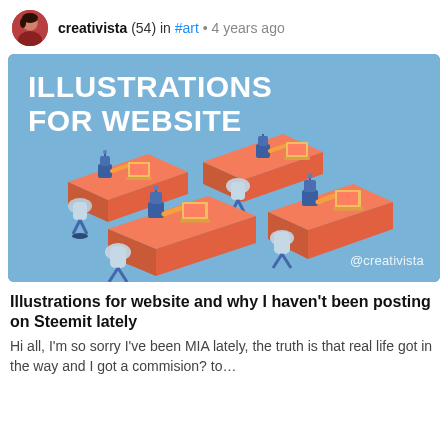creativista (54) in #art • 4 years ago
[Figure (illustration): Blue background illustration showing robot characters sitting at orange desks with computers, arranged in a repeating pattern. White bold text reads ILLUSTRATIONS FOR WEBSITE. Watermark @creativista in bottom right.]
Illustrations for website and why I haven't been posting on Steemit lately
Hi all, I'm so sorry I've been MIA lately, the truth is that real life got in the way and I got a commision? to…